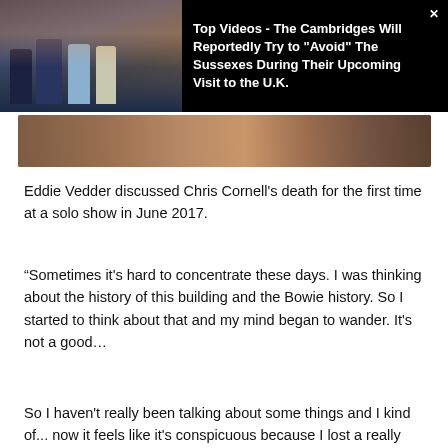[Figure (screenshot): Video ad overlay on dark background: thumbnail of British royals on a balcony on the left, bold white headline text on the right about The Cambridges avoiding The Sussexes during UK visit. Close X button top right.]
[Figure (photo): Partial photo strip showing a blurred/cropped image with brown and tan tones, likely a person or animal close-up.]
Eddie Vedder discussed Chris Cornell's death for the first time at a solo show in June 2017.
“Sometimes it’s hard to concentrate these days. I was thinking about the history of this building and the Bowie history. So I started to think about that and my mind began to wander. It’s not a good…
So I haven’t really been talking about some things and I kind of... now it feels like it’s conspicuous because I lost a really